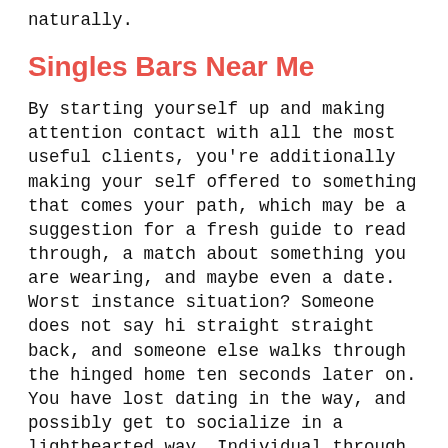naturally.
Singles Bars Near Me
By starting yourself up and making attention contact with all the most useful clients, you're additionally making your self offered to something that comes your path, which may be a suggestion for a fresh guide to read through, a match about something you are wearing, and maybe even a date. Worst instance situation? Someone does not say hi straight straight back, and someone else walks through the hinged home ten seconds later on. You have lost dating in the way, and possibly get to socialize in a lighthearted way. Individual through the old, there are many events that are social can go to to improve your places of conference somebody new. Take to planning a weekly night that is dating your pals and find out whom appears each week, which makes it clear that brand brand new folks are welcome to become listed on at any moment. Accept every